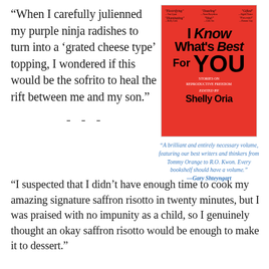“When I carefully julienned my purple ninja radishes to turn into a ‘grated cheese type’ topping, I wondered if this would be the sofrito to heal the rift between me and my son.”
- - -
[Figure (illustration): Book cover for 'I Know What's Best For You: Stories on Reproductive Freedom' edited by Shelly Oria. Red background with hand-lettered black title text. Small blurbs at top.]
“A brilliant and entirely necessary volume, featuring our best writers and thinkers from Tommy Orange to R.O. Kwon. Every bookshelf should have a volume.” —Gary Shteyngart
“I suspected that I didn’t have enough time to cook my amazing signature saffron risotto in twenty minutes, but I was praised with no impunity as a child, so I genuinely thought an okay saffron risotto would be enough to make it to dessert.”